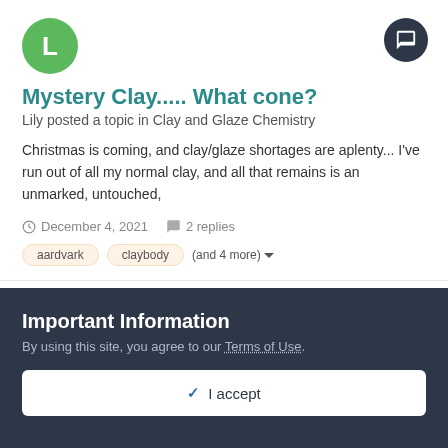[Figure (illustration): Green circle avatar with letter L]
Mystery Clay..... What cone?
Lily posted a topic in Clay and Glaze Chemistry
Christmas is coming, and clay/glaze shortages are aplenty... I've run out of all my normal clay, and all that remains is an unmarked, untouched,
December 4, 2021   2 replies
aardvark
claybody
(and 4 more)
[Figure (illustration): Salmon/orange circle avatar with letter A]
Important Information
By using this site, you agree to our Terms of Use.
✔ I accept